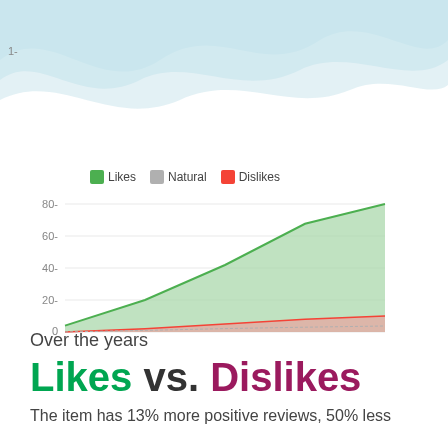[Figure (area-chart): Likes vs. Dislikes over the years]
Over the years
Likes vs. Dislikes
The item has 13% more positive reviews, 50% less